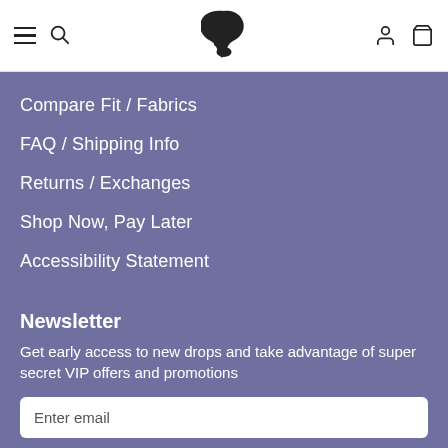Navigation header with menu, search, logo, account and cart icons
Compare Fit / Fabrics
FAQ / Shipping Info
Returns / Exchanges
Shop Now, Pay Later
Accessibility Statement
Newsletter
Get early access to new drops and take advantage of super secret VIP offers and promotions
Enter email